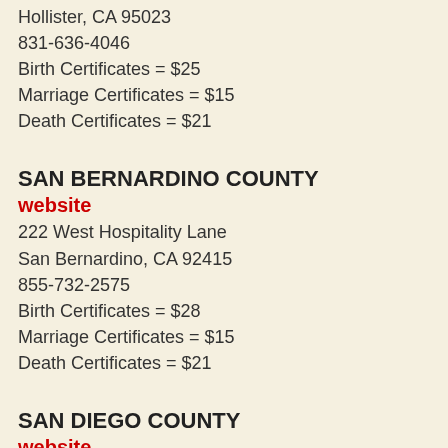Hollister, CA 95023
831-636-4046
Birth Certificates = $25
Marriage Certificates = $15
Death Certificates = $21
SAN BERNARDINO COUNTY
website
222 West Hospitality Lane
San Bernardino, CA 92415
855-732-2575
Birth Certificates = $28
Marriage Certificates = $15
Death Certificates = $21
SAN DIEGO COUNTY
website
San Diego County Recorder
Attn: (birth, marriage or death) Records
P.O. Box 121750
San Diego, CA 92112-1750